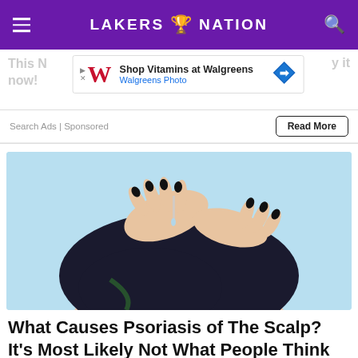LAKERS NATION
[Figure (infographic): Walgreens advertisement banner: Shop Vitamins at Walgreens, Walgreens Photo]
Search Ads | Sponsored
Read More
[Figure (photo): Woman with dark hair and black nails applying serum or dropper liquid to her scalp, light blue background]
What Causes Psoriasis of The Scalp? It's Most Likely Not What People Think